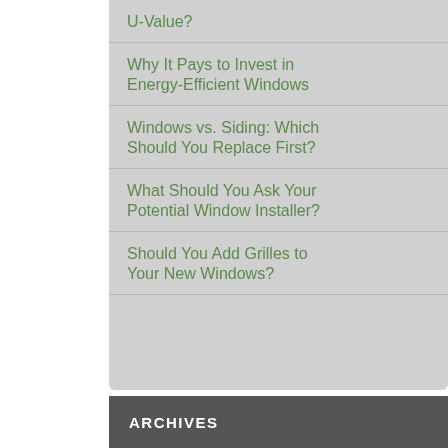U-Value?
Why It Pays to Invest in Energy-Efficient Windows
Windows vs. Siding: Which Should You Replace First?
What Should You Ask Your Potential Window Installer?
Should You Add Grilles to Your New Windows?
ARCHIVES